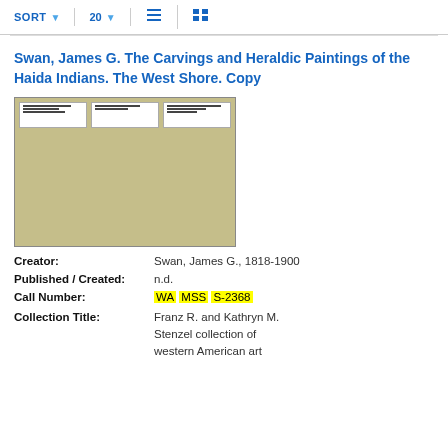SORT 20 [list view] [grid view]
Swan, James G. The Carvings and Heraldic Paintings of the Haida Indians. The West Shore. Copy
[Figure (photo): A scanned document image showing an old manila envelope or folder with three white label boxes at the top containing typed text.]
Creator: Swan, James G., 1818-1900
Published / Created: n.d.
Call Number: WA MSS S-2368
Collection Title: Franz R. and Kathryn M. Stenzel collection of western American art